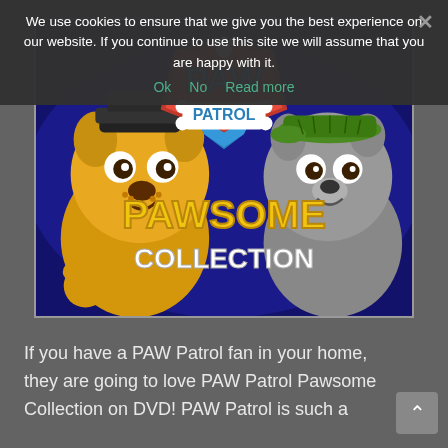We use cookies to ensure that we give you the best experience on our website. If you continue to use this site we will assume that you are happy with it.
Ok   No   Read more
[Figure (illustration): PAW Patrol Pawsome Collection DVD cover featuring cartoon dog characters (Rubble and Rocky) with the PAW Patrol logo and text 'PAWSOME COLLECTION' on a dark blue/navy background.]
If you have a PAW Patrol fan in your home, they are going to love PAW Patrol Pawsome Collection on DVD! PAW Patrol is such a